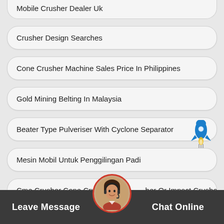Mobile Crusher Dealer Uk
Crusher Design Searches
Cone Crusher Machine Sales Price In Philippines
Gold Mining Belting In Malaysia
Beater Type Pulveriser With Cyclone Separator
Mesin Mobil Untuk Penggilingan Padi
Cme Crusher Cone Crusher Or Crusher Or Impact Crusher
Leave Message | Chat Online